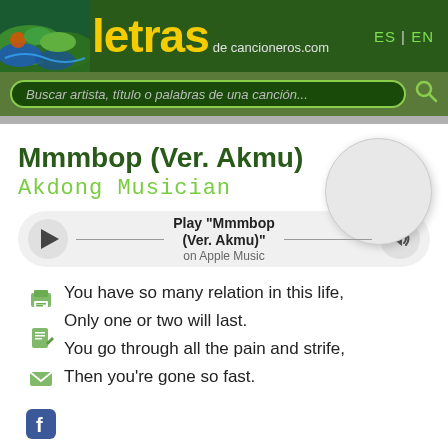[Figure (screenshot): letras.decancioneros.com website header with logo showing stylized waves and 'letras de cancioneros.com' text in yellow, with ES | EN language links on the right]
Buscar artista, título o palabras de una canción...
Mmmbop (Ver. Akmu)
Akdong Musician
Play "Mmmbop (Ver. Akmu)" on Apple Music
You have so many relation in this life,
Only one or two will last.
You go through all the pain and strife,
Then you're gone so fast.